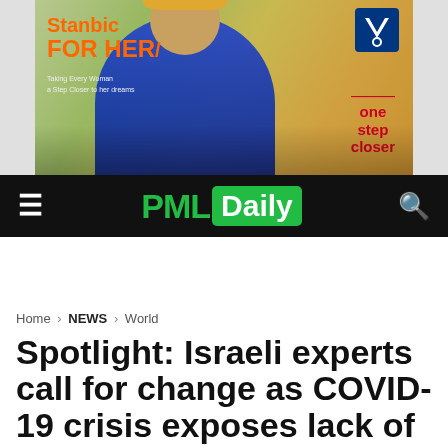[Figure (photo): Stanbic For Her advertisement banner featuring a woman in a blue vest and yellow head wrap selling vegetables at a market stall, with produce including tomatoes, bananas, and greens. Text reads 'Stanbic FOR HER' in orange, tagline text, 'one step closer' in red, and Stanbic logo in top right.]
PML Daily
Spotlight: Israeli experts call for change as COVID-19 crisis exposes lack of int'l